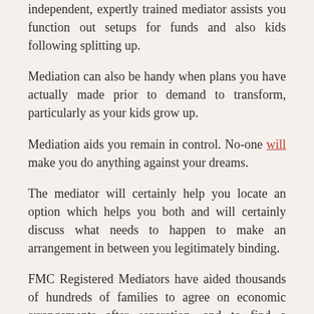independent, expertly trained mediator assists you function out setups for funds and also kids following splitting up.
Mediation can also be handy when plans you have actually made prior to demand to transform, particularly as your kids grow up.
Mediation aids you remain in control. No-one will make you do anything against your dreams.
The mediator will certainly help you locate an option which helps you both and will certainly discuss what needs to happen to make an arrangement in between you legitimately binding.
FMC Registered Mediators have aided thousands of hundreds of families to agree on economic arrangements after separation, and to find a method to moms and dad their youngsters co-operatively after splitting up.